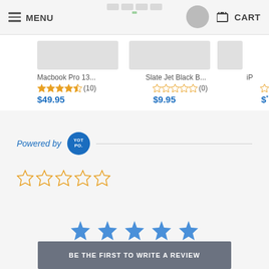MENU | CART
Macbook Pro 13...  ★★★★½(10)  $49.95   |   Slate Jet Black B...  ☆☆☆☆☆(0)  $9.95   |   iP  ☆  $*
Powered by YOTPO.
[Figure (other): Five empty orange star outlines for rating input]
[Figure (other): Five solid blue star icons]
BE THE FIRST TO WRITE A REVIEW